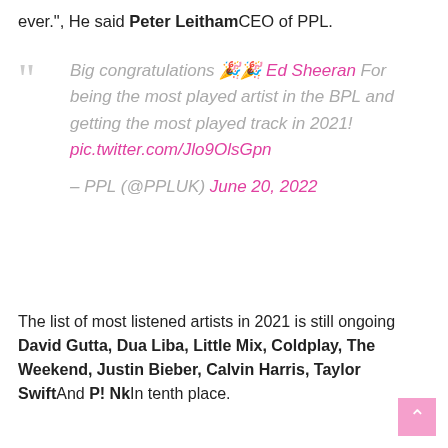ever.", He said Peter LeithamCEO of PPL.
Big congratulations 🎉🎉 Ed Sheeran For being the most played artist in the BPL and getting the most played track in 2021! pic.twitter.com/Jlo9OlsGpn

– PPL (@PPLUK) June 20, 2022
The list of most listened artists in 2021 is still ongoing David Gutta, Dua Liba, Little Mix, Coldplay, The Weekend, Justin Bieber, Calvin Harris, Taylor SwiftAnd P! NkIn tenth place.